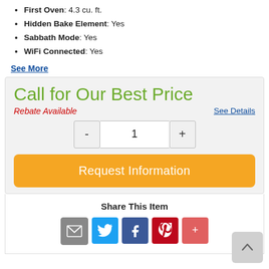First Oven: 4.3 cu. ft.
Hidden Bake Element: Yes
Sabbath Mode: Yes
WiFi Connected: Yes
See More
Call for Our Best Price
Rebate Available
See Details
1
Request Information
Share This Item